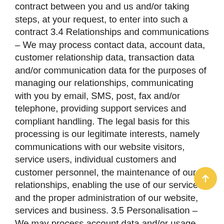contract between you and us and/or taking steps, at your request, to enter into such a contract 3.4 Relationships and communications – We may process contact data, account data, customer relationship data, transaction data and/or communication data for the purposes of managing our relationships, communicating with you by email, SMS, post, fax and/or telephone, providing support services and compliant handling. The legal basis for this processing is our legitimate interests, namely communications with our website visitors, service users, individual customers and customer personnel, the maintenance of our relationships, enabling the use of our services, and the proper administration of our website, services and business. 3.5 Personalisation – We may process account data and/or usage data for the purposes of personalising the content and advertisements that you see on our